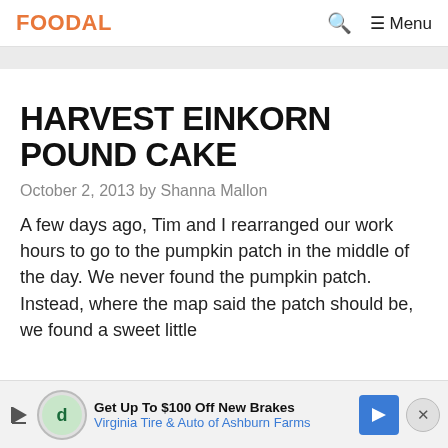FOODAL | Search | Menu
HARVEST EINKORN POUND CAKE
October 2, 2013 by Shanna Mallon
A few days ago, Tim and I rearranged our work hours to go to the pumpkin patch in the middle of the day. We never found the pumpkin patch. Instead, where the map said the patch should be, we found a sweet little hou...
[Figure (other): Advertisement banner: Get Up To $100 Off New Brakes - Virginia Tire & Auto of Ashburn Farms]